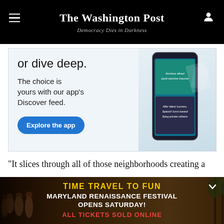The Washington Post
Democracy Dies in Darkness
[Figure (screenshot): Washington Post app advertisement with text 'or dive deep. The choice is yours with our app's Discover feed.' and a blue 'Explore the app' button, with a phone showing news cards on the right side.]
“It slices through all of those neighborhoods creating a
[Figure (photo): Maryland Renaissance Festival advertisement showing costumed performers with text: TIME TRAVEL TO FUN / MARYLAND RENAISSANCE FESTIVAL OPENS SATURDAY! / ALL TICKETS SOLD ONLINE]